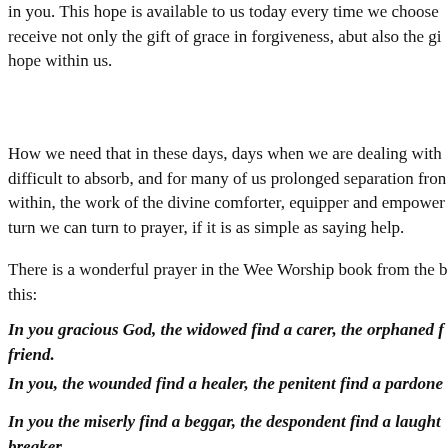in you. This hope is available to us today every time we choose to receive not only the gift of grace in forgiveness, abut also the gi… hope within us.
How we need that in these days, days when we are dealing with difficult to absorb, and for many of us prolonged separation fro… within, the work of the divine comforter, equipper and empowe… turn we can turn to prayer, if it is as simple as saying help.
There is a wonderful prayer in the Wee Worship book from the … this:
In you gracious God, the widowed find a carer, the orphaned f… friend.
In you, the wounded find a healer, the penitent find a pardone…
In you the miserly find a beggar, the despondent find a laught… breaker.